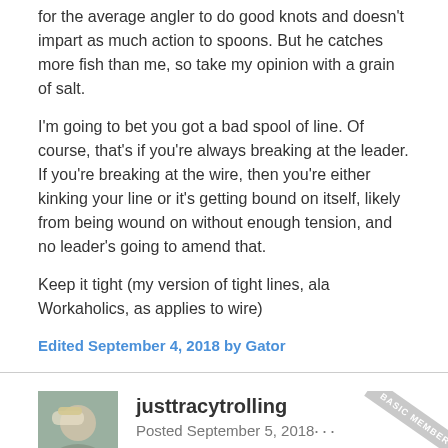for the average angler to do good knots and doesn't impart as much action to spoons. But he catches more fish than me, so take my opinion with a grain of salt.
I'm going to bet you got a bad spool of line. Of course, that's if you're always breaking at the leader. If you're breaking at the wire, then you're either kinking your line or it's getting bound on itself, likely from being wound on without enough tension, and no leader's going to amend that.
Keep it tight (my version of tight lines, ala Workaholics, as applies to wire)
Edited September 4, 2018 by Gator
justtracytrolling
Posted September 5, 2018
I've listened to way more sticky drags than smooth ones over the years.... probably a combination of many factors, but point is Kings will let you know if you arent doing something right.
As for not using leaders before, it may have given them some more...